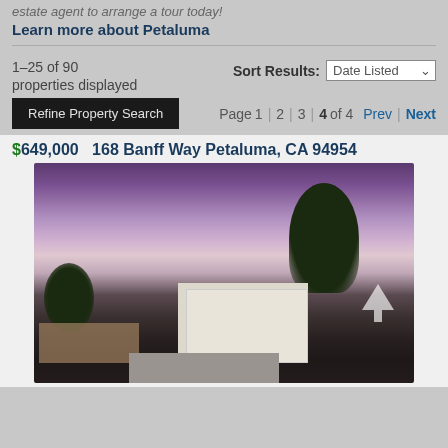estate agent to arrange a tour today!
Learn more about Petaluma
1–25 of 90 properties displayed
Sort Results: Date Listed
Refine Property Search
Page 1 | 2 | 3 | 4 of 4  Prev | Next
$649,000  168 Banff Way Petaluma, CA 94954
[Figure (photo): Exterior photo of 168 Banff Way Petaluma at dusk, showing a house with white garage door, driveway, wooden fence on the left, and a tree on the right, against a purple-pink twilight sky.]